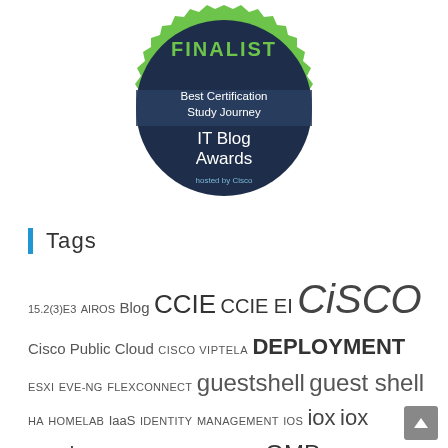[Figure (logo): IT Blog Awards badge - Finalist, Best Certification Study Journey, hosted by Cisco. Green serrated circle border with dark navy interior.]
Tags
15.2(3)E3 AIROS Blog CCIE CCIE EI CISCO Cisco Public Cloud CISCO VIPTELA DEPLOYMENT ESXI EVE-NG FLEXCONNECT guestshell guest shell HA HOMELAB IaaS IDENTITY MANAGEMENT IOS iox iox services ISE MERAKI NAMED VLAN OMP ON-PREM SD-WAN OVERLAY PARTNER DELIVERED SD-WAN SD-WAN SDN SECURITY SOFTWARE DEFINED NETWORKING Splunk TLOC TLS/DTLS TWITTER vBond vEDGE vEDGE CLOUD